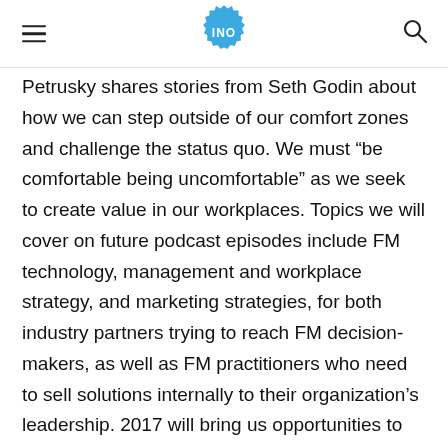INO
Petrusky shares stories from Seth Godin about how we can step outside of our comfort zones and challenge the status quo. We must “be comfortable being uncomfortable” as we seek to create value in our workplaces. Topics we will cover on future podcast episodes include FM technology, management and workplace strategy, and marketing strategies, for both industry partners trying to reach FM decision-makers, as well as FM practitioners who need to sell solutions internally to their organization’s leadership. 2017 will bring us opportunities to gather at industry conferences such as the NFMT Show, IFMA’s Facility Fusion and World Workplace. Let’s make it a great year for the “FM Innovator Nation”!